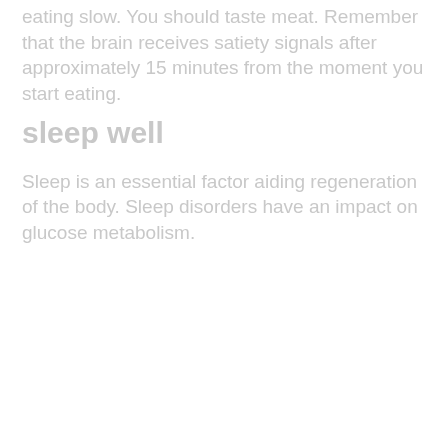eating slow. You should taste meat. Remember that the brain receives satiety signals after approximately 15 minutes from the moment you start eating.
sleep well
Sleep is an essential factor aiding regeneration of the body. Sleep disorders have an impact on glucose metabolism.